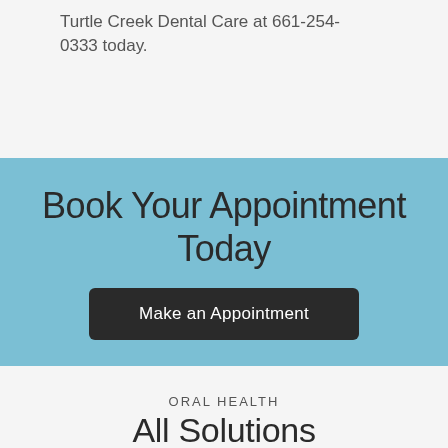Turtle Creek Dental Care at 661-254-0333 today.
Book Your Appointment Today
Make an Appointment
ORAL HEALTH
All Solutions